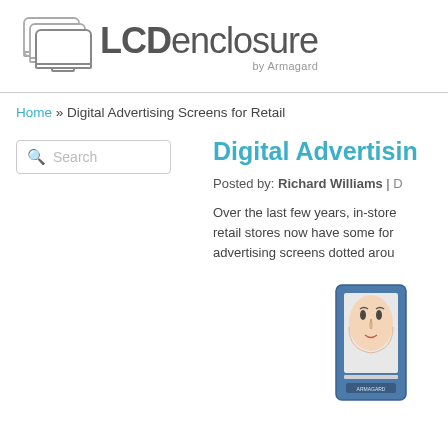[Figure (logo): LCD enclosure by Armagard logo with stacked screen icon graphic on the left and text 'LCDenclosure by Armagard' on the right]
Home » Digital Advertising Screens for Retail
Search
Digital Advertisi...
Posted by: Richard Williams |
Over the last few years, in-store retail stores now have some for advertising screens dotted arou...
[Figure (photo): Digital advertising screen kiosk with a face on the display, blue frame, Armagard branding at bottom]